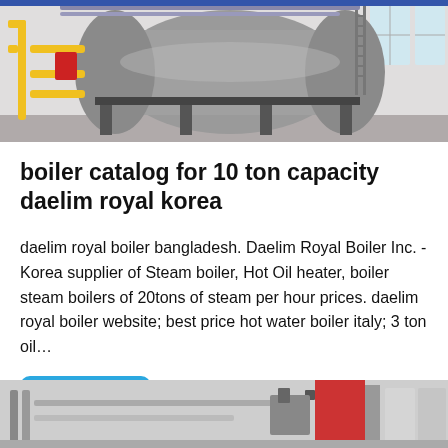[Figure (photo): Industrial boiler equipment photograph — large cylindrical boiler with yellow pipes, metal framework, in a factory/warehouse setting with white walls and windows]
boiler catalog for 10 ton capacity daelim royal korea
daelim royal boiler bangladesh. Daelim Royal Boiler Inc. - Korea supplier of Steam boiler, Hot Oil heater, boiler steam boilers of 20tons of steam per hour prices. daelim royal boiler website; best price hot water boiler italy; 3 ton oil…
Get Price
[Figure (photo): Partial view of industrial boiler equipment in warehouse — shows pipes, red cylindrical boiler unit, and other industrial machinery]